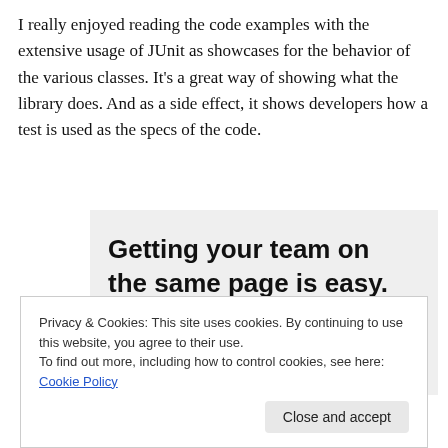I really enjoyed reading the code examples with the extensive usage of JUnit as showcases for the behavior of the various classes. It's a great way of showing what the library does. And as a side effect, it shows developers how a test is used as the specs of the code.
[Figure (infographic): Advertisement banner with bold headline 'Getting your team on the same page is easy. And free.' on a light grey background, with a row of circular avatar photos below.]
Privacy & Cookies: This site uses cookies. By continuing to use this website, you agree to their use.
To find out more, including how to control cookies, see here: Cookie Policy